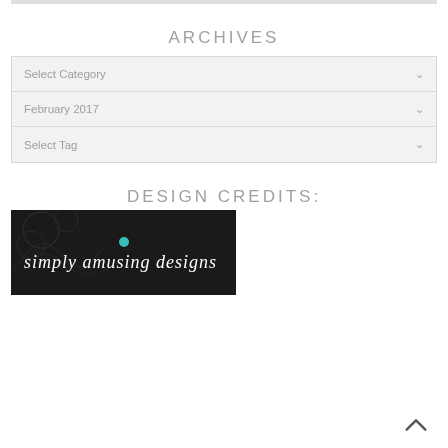ARCHIVES
Select Category
February 2017
Select Tag
DESIGN CREDITS:
[Figure (logo): Simply Amusing Designs logo — white text on dark background with decorative pattern]